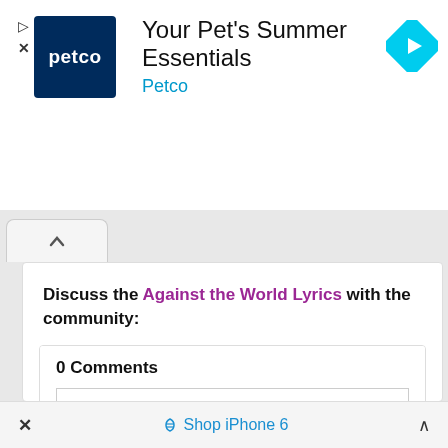[Figure (screenshot): Petco advertisement banner: Petco logo (white text on dark blue), headline 'Your Pet's Summer Essentials', brand name 'Petco' in cyan, and a cyan diamond-shaped navigation icon on the right. Ad play and close controls on left.]
[Figure (screenshot): Browser tab bar showing a single active tab with up-caret chevron icon.]
Discuss the Against the World Lyrics with the community:
0 Comments
Add a comment...
Notify me of new comments via email.
× Shop iPhone 6 ∧